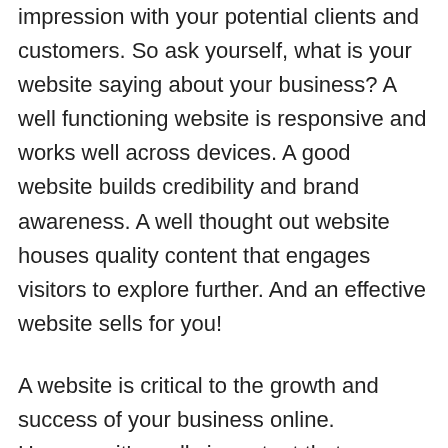impression with your potential clients and customers. So ask yourself, what is your website saying about your business? A well functioning website is responsive and works well across devices. A good website builds credibility and brand awareness. A well thought out website houses quality content that engages visitors to explore further. And an effective website sells for you!
A website is critical to the growth and success of your business online. However, it's really important that as a business owner you are aware that the penny unfortunately does not stop there. The web is expanding at such a fast pace and with millions of websites competing for your traffic, as well designed and effective as your website may